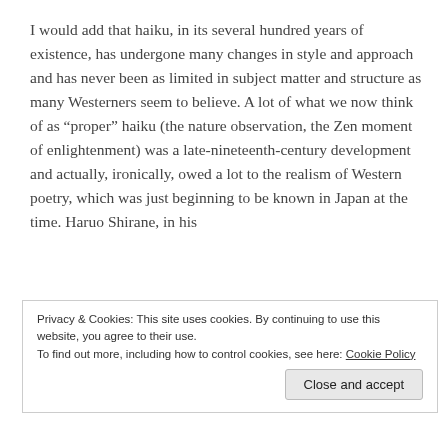I would add that haiku, in its several hundred years of existence, has undergone many changes in style and approach and has never been as limited in subject matter and structure as many Westerners seem to believe. A lot of what we now think of as “proper” haiku (the nature observation, the Zen moment of enlightenment) was a late-nineteenth-century development and actually, ironically, owed a lot to the realism of Western poetry, which was just beginning to be known in Japan at the time. Haruo Shirane, in his
Privacy & Cookies: This site uses cookies. By continuing to use this website, you agree to their use.
To find out more, including how to control cookies, see here: Cookie Policy
Close and accept